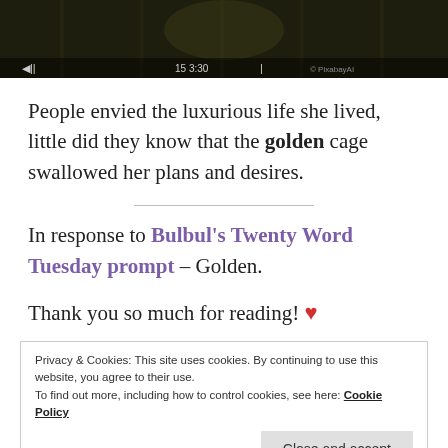[Figure (photo): Dark cinematic image showing a shadowy scene, possibly a forest or cage, with a video player overlay bar and watermark.]
People envied the luxurious life she lived, little did they know that the golden cage swallowed her plans and desires.
In response to Bulbul's Twenty Word Tuesday prompt – Golden.
Thank you so much for reading! ❤
Privacy & Cookies: This site uses cookies. By continuing to use this website, you agree to their use.
To find out more, including how to control cookies, see here: Cookie Policy